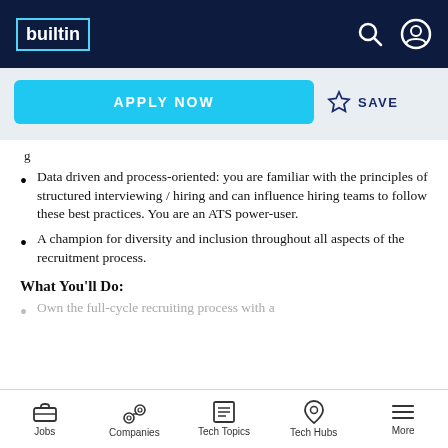builtin
Data driven and process-oriented: you are familiar with the principles of structured interviewing / hiring and can influence hiring teams to follow these best practices. You are an ATS power-user.
A champion for diversity and inclusion throughout all aspects of the recruitment process.
What You'll Do:
Own the full-cycle recruiting process with a
Jobs   Companies   Tech Topics   Tech Hubs   More